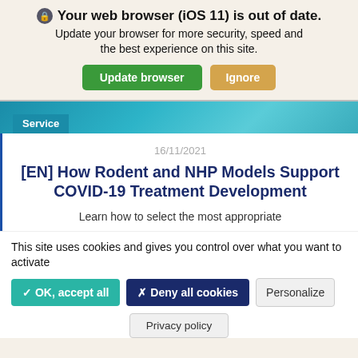🔒 Your web browser (iOS 11) is out of date. Update your browser for more security, speed and the best experience on this site.
Service
16/11/2021
[EN] How Rodent and NHP Models Support COVID-19 Treatment Development
Learn how to select the most appropriate
This site uses cookies and gives you control over what you want to activate
✓ OK, accept all   ✗ Deny all cookies   Personalize   Privacy policy